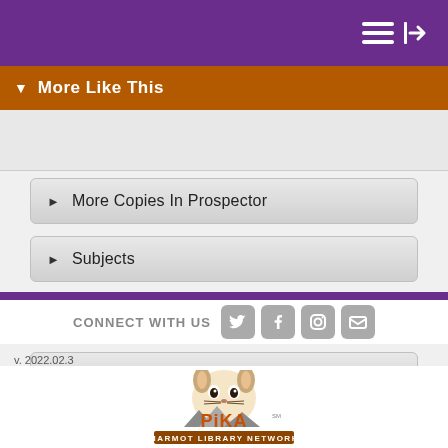▼ More Like This
► More Copies In Prospector
► Subjects
► More Details
► Reviews from GoodReads
► Staff View
CONNECT WITH US
v. 2022.02.3
[Figure (logo): Pika Marmot Library Network logo with cartoon pika face above orange 'PiKA' text and 'MARMOT LIBRARY NETWORK' banner]